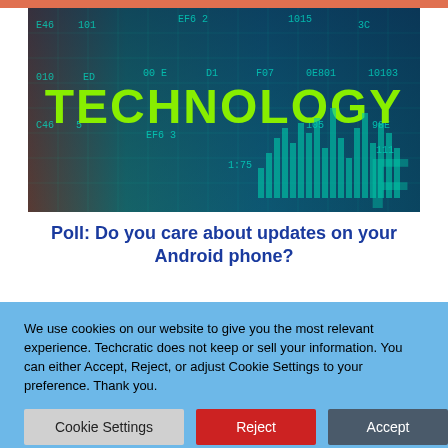[Figure (photo): Technology themed image with green 'TECHNOLOGY' text overlay on a dark teal/blue background with hex codes, numbers, and bar chart graphics]
Poll: Do you care about updates on your Android phone?
We use cookies on our website to give you the most relevant experience. Techcratic does not keep or sell your information. You can either Accept, Reject, or adjust Cookie Settings to your preference. Thank you.